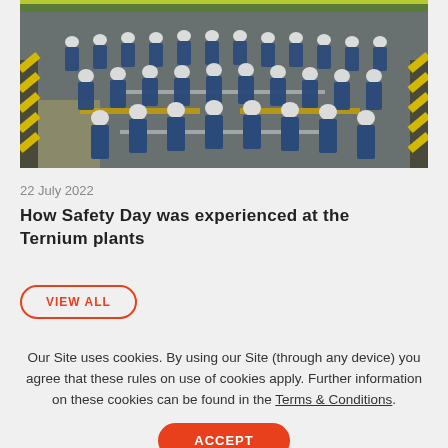[Figure (photo): Group of workers in blue uniforms and white hard hats standing in an industrial plant with yellow and black safety markings on the floor, viewed from above.]
22 July 2022
How Safety Day was experienced at the Ternium plants
VIEW ALL
Our Site uses cookies. By using our Site (through any device) you agree that these rules on use of cookies apply. Further information on these cookies can be found in the Terms & Conditions.
ACCEPT